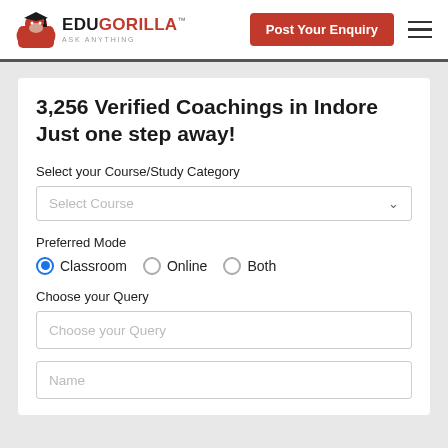[Figure (logo): EduGorilla logo with red gorilla icon and text EDUGORILLA ASK ANYTHING]
Post Your Enquiry
3,256 Verified Coachings in Indore Just one step away!
Select your Course/Study Category
Select Course
Preferred Mode
Classroom   Online   Both
Choose your Query
Choose your Query
Name